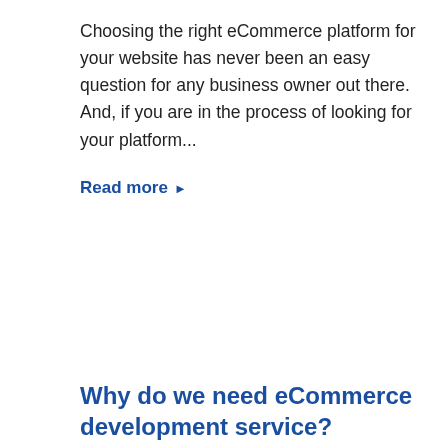Choosing the right eCommerce platform for your website has never been an easy question for any business owner out there. And, if you are in the process of looking for your platform...
Read more ▶
Why do we need eCommerce development service?